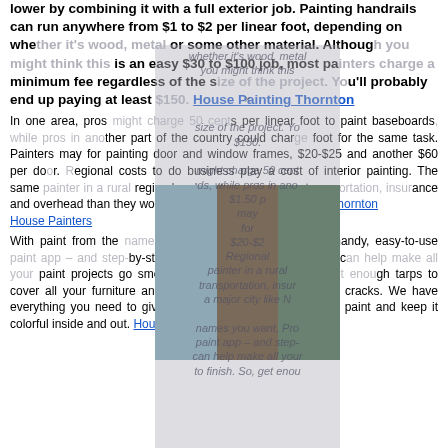lower by combining it with a full exterior job. Painting handrails can run anywhere from $1 to $2 per linear foot, depending on whether it's wood, metal or some other material. Although you might think this is an easy $30 to $100 job, most painters charge a minimum fee regardless of the size of the project. You'll probably end up paying at least $150. House Painting Thornton
[Figure (photo): Three-panel composite photo showing house painting work: ladders against house exterior, painters at work]
In one area, pros might charge 50 cents per linear foot to paint baseboards, while pros in another part of the country could charge $1.50 per foot for the same task. Painters may charge $10-$20 for painting door and window frames, $20-$25 and another $60 per door. Regional costs to do business play a role in the cost of interior painting. The same painter in a rural region has less to pay in taxes, transportation, insurance and overhead than they would in a major city like New York. Thornton House Painters
With paint from the names you want, ProjectColor – our handy, easy-to-use paint app – and step-by-step DIY guides, The Home Depot can help make all your paint projects go smoothly from start to finish. So, get enough tarps to cover all your furniture and electronics and caulk to fix the cracks. We have everything you need to give your home a fresh coat of wall paint and keep it colorful inside and out. House